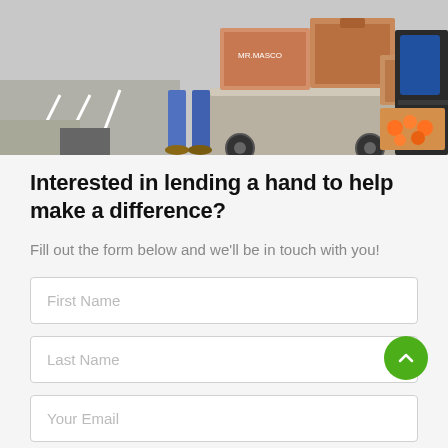[Figure (photo): A person pushing a cart loaded with cardboard boxes and food items outside a building, likely a food bank donation scene.]
Interested in lending a hand to help make a difference?
Fill out the form below and we'll be in touch with you!
First Name
Last Name
Your Email